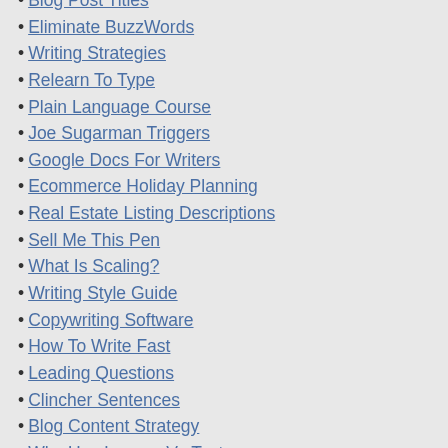Blog Post Titles
Eliminate BuzzWords
Writing Strategies
Relearn To Type
Plain Language Course
Joe Sugarman Triggers
Google Docs For Writers
Ecommerce Holiday Planning
Real Estate Listing Descriptions
Sell Me This Pen
What Is Scaling?
Writing Style Guide
Copywriting Software
How To Write Fast
Leading Questions
Clincher Sentences
Blog Content Strategy
Why Use Images Vs Text
How To Write A Brochure
Headlines That Sell
Using Ear Plugs To Write